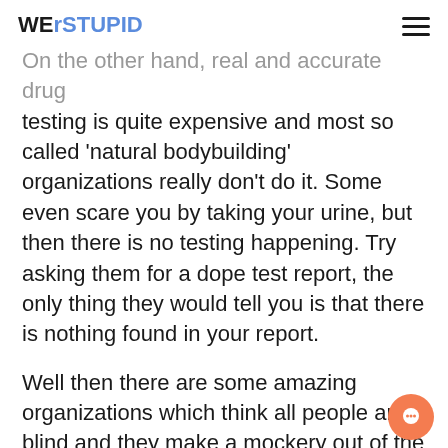WErSTUPID
On the other hand, real and accurate drug testing is quite expensive and most so called ‘natural bodybuilding’ organizations really don’t do it. Some even scare you by taking your urine, but then there is no testing happening. Try asking them for a dope test report, the only thing they would tell you is that there is nothing found in your report.
Well then there are some amazing organizations which think all people are blind and they make a mockery out of the system, hand in hand with the government authorities. For e.g. in one of the top